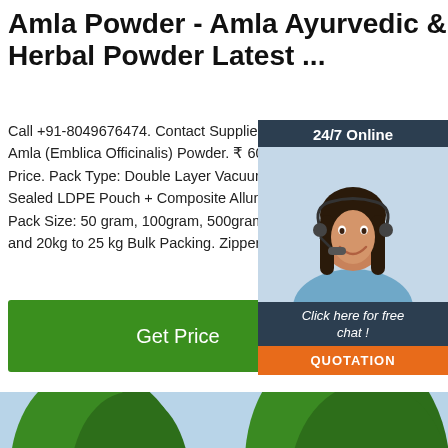Amla Powder - Amla Ayurvedic & Herbal Powder Latest ...
Call +91-8049676474. Contact Supplier Request a quote. Amla (Emblica Officinalis) Powder. ₹ 600/ Kilogram Get Latest Price. Pack Type: Double Layer Vacuum Packing, Heat Sealed LDPE Pouch + Composite Alluminium Fo... Pack Size: 50 gram, 100gram, 500gram and 1 kg... and 20kg to 25 kg Bulk Packing. Zipper pouch al...
[Figure (other): Green 'Get Price' button]
[Figure (other): Chat widget with 24/7 Online support agent photo, 'Click here for free chat!' text, and orange QUOTATION button]
[Figure (photo): Photo of green conifer/tree canopy against a light blue sky, with a TOP badge overlay in the bottom right corner]